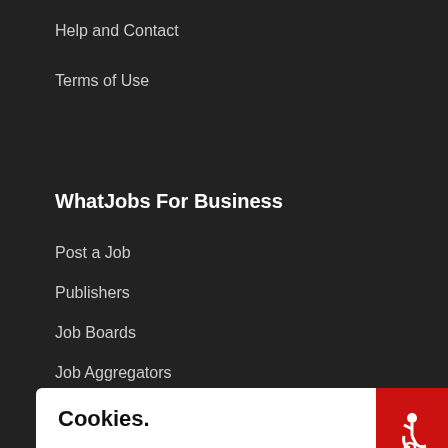Help and Contact
Terms of Use
WhatJobs For Business
Post a Job
Publishers
Job Boards
Job Aggregators
Cookies.
We use cookies on this site to enhance your user experience.
Understood
Help & FAQS
[Figure (infographic): Social sharing icon bar with Twitter, Facebook, WhatsApp, LinkedIn, Email, and More (+) buttons]